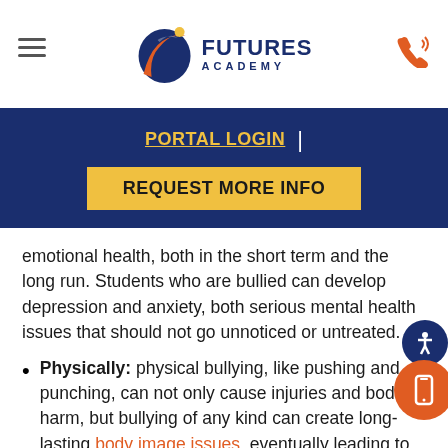[Figure (logo): Futures Academy logo with stylized swoosh icon and text 'FUTURES ACADEMY']
PORTAL LOGIN | REQUEST MORE INFO
emotional health, both in the short term and the long run. Students who are bullied can develop depression and anxiety, both serious mental health issues that should not go unnoticed or untreated.
Physically: physical bullying, like pushing and punching, can not only cause injuries and bodily harm, but bullying of any kind can create long-lasting body image issues, eventually leading to disordered eating or eating disorders. Bullying can also affect kids' sleep and is associated with increased stomach and headaches.